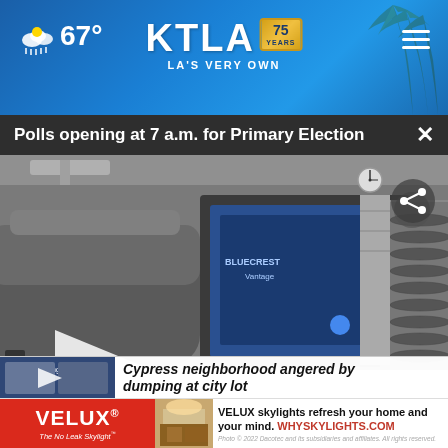67° KTLA 75 YEARS LA'S VERY OWN
Polls opening at 7 a.m. for Primary Election
[Figure (screenshot): Industrial printing machine in a factory/warehouse setting, large blue and grey machine with rollers, viewed from the side. Play button overlay visible.]
Cypress neighborhood angered by dumping at city lot
VELUX skylights refresh your home and your mind. WHYSKYLIGHTS.COM
Photo © 2022 Dacotec and its subsidiaries and affiliates. All rights reserved.